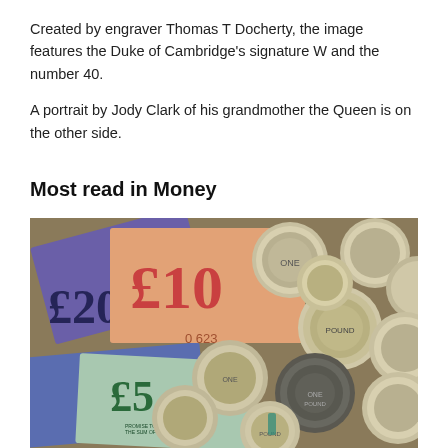Created by engraver Thomas T Docherty, the image features the Duke of Cambridge's signature W and the number 40.
A portrait by Jody Clark of his grandmother the Queen is on the other side.
Most read in Money
[Figure (photo): Photo of British currency — £10, £20, £5 banknotes and multiple pound coins scattered together]